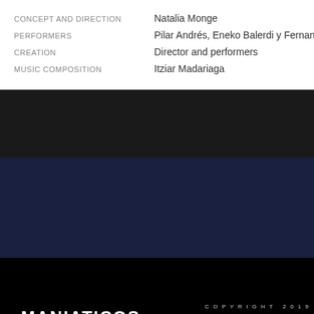CONCEPT AND DIRECTION   Natalia Monge
PERFORMERS   Pilar Andrés, Eneko Balerdi y Fernando Barado
CREATION   Director and performers
MUSIC COMPOSITION   Itziar Madariaga
[Figure (screenshot): Vimeo CAPTCHA verification screen with dark navy background showing partial text 'please confirm that youâ€ human (and not a spambo' and the Vimeo logo in white italic script]
[Figure (screenshot): Black video player bar showing 'MANIATICOS' title in white bold uppercase text with a vertical three-dot menu icon]
COPYRIGHT 2019